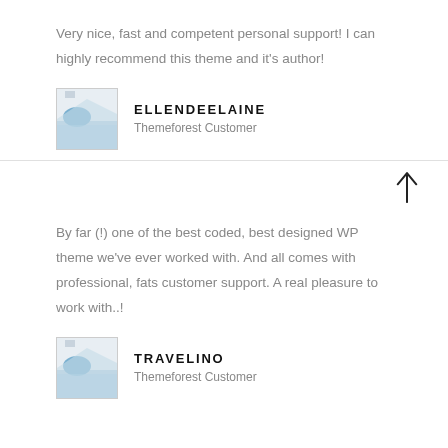Very nice, fast and competent personal support! I can highly recommend this theme and it's author!
ELLENDEELAINE
Themeforest Customer
[Figure (illustration): Up arrow icon]
By far (!) one of the best coded, best designed WP theme we've ever worked with. And all comes with professional, fats customer support. A real pleasure to work with..!
TRAVELINO
Themeforest Customer